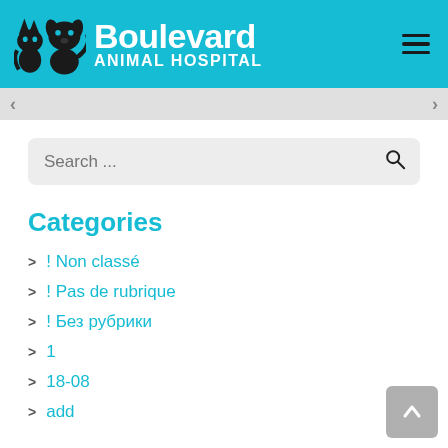[Figure (logo): Boulevard Animal Hospital logo with silhouettes of a cat and dog, teal/cyan background, white text reading 'Boulevard ANIMAL HOSPITAL', hamburger menu icon top right]
[Figure (screenshot): Search bar with placeholder text 'Search ...' and a magnifying glass icon on light grey background]
Categories
! Non classé
! Pas de rubrique
! Без рубрики
1
18-08
add